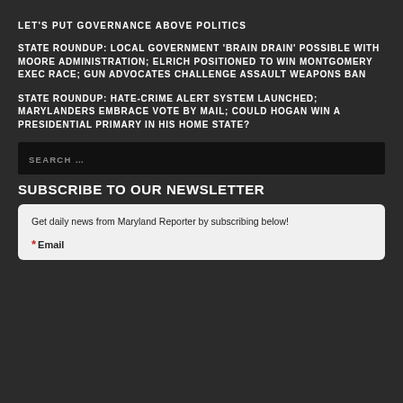LET'S PUT GOVERNANCE ABOVE POLITICS
STATE ROUNDUP: LOCAL GOVERNMENT 'BRAIN DRAIN' POSSIBLE WITH MOORE ADMINISTRATION; ELRICH POSITIONED TO WIN MONTGOMERY EXEC RACE; GUN ADVOCATES CHALLENGE ASSAULT WEAPONS BAN
STATE ROUNDUP: HATE-CRIME ALERT SYSTEM LAUNCHED; MARYLANDERS EMBRACE VOTE BY MAIL; COULD HOGAN WIN A PRESIDENTIAL PRIMARY IN HIS HOME STATE?
SEARCH ...
SUBSCRIBE TO OUR NEWSLETTER
Get daily news from Maryland Reporter by subscribing below!
* Email